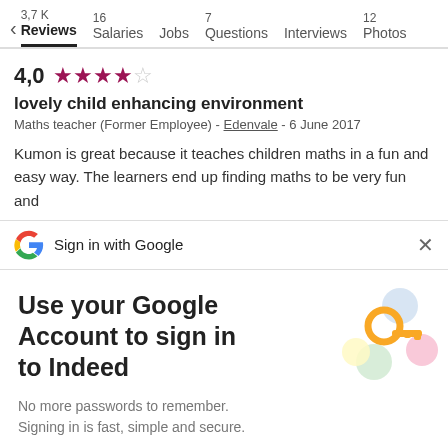3,7K Reviews | 16 Salaries | Jobs | 7 Questions | Interviews | 12 Photos
4,0 ★★★★☆ lovely child enhancing environment
Maths teacher (Former Employee) - Edenvale - 6 June 2017
Kumon is great because it teaches children maths in a fun and easy way. The learners end up finding maths to be very fun and
[Figure (screenshot): Sign in with Google banner with Google G logo and X close button]
[Figure (illustration): Google Account sign-in prompt for Indeed with key illustration, text 'Use your Google Account to sign in to Indeed', subtext 'No more passwords to remember. Signing in is fast, simple and secure.', and a blue Continue button]